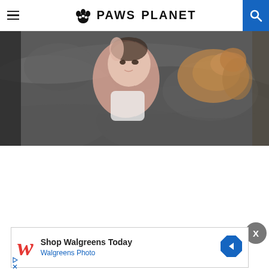PAWS PLANET
[Figure (photo): Baby lying on grey bedding with a small dog (likely a Chihuahua or similar breed) beside them]
[Figure (infographic): Walgreens advertisement: Shop Walgreens Today - Walgreens Photo, with Walgreens logo W and a blue arrow icon]